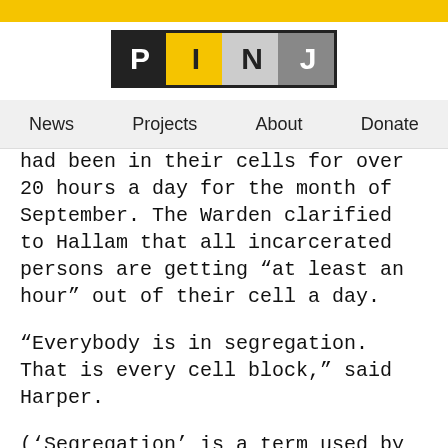[Figure (logo): PINJ logo with four colored letter boxes: P (black), I (yellow), N (gray), J (dark gray)]
News  Projects  About  Donate
had been in their cells for over 20 hours a day for the month of September. The Warden clarified to Hallam that all incarcerated persons are getting “at least an hour” out of their cell a day.
“Everybody is in segregation. That is every cell block,” said Harper.
(‘Segregation’ is a term used by jail administrators that means incarcerated persons who are isolated from the general